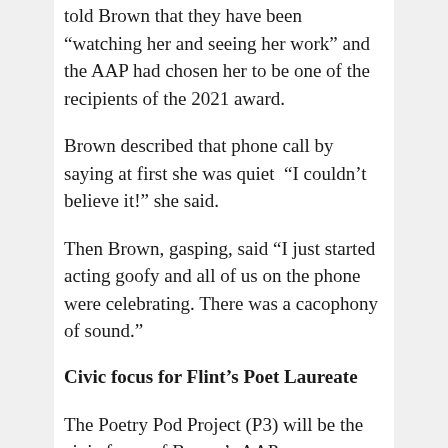told Brown that they have been “watching her and seeing her work” and the AAP had chosen her to be one of the recipients of the 2021 award.
Brown described that phone call by saying at first she was quiet “I couldn’t believe it!” she said.
Then Brown, gasping, said “I just started acting goofy and all of us on the phone were celebrating. There was a cacophony of sound.”
Civic focus for Flint’s Poet Laureate
The Poetry Pod Project (P3) will be the civic focus of Brown’s AAP